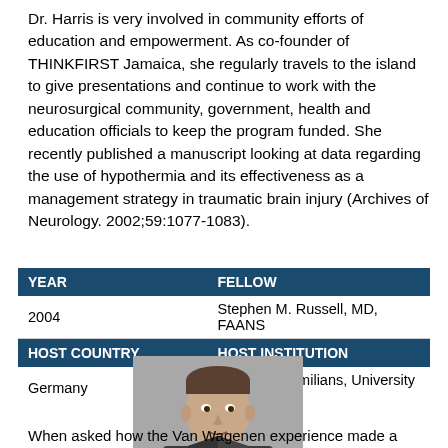Dr. Harris is very involved in community efforts of education and empowerment. As co-founder of THINKFIRST Jamaica, she regularly travels to the island to give presentations and continue to work with the neurosurgical community, government, health and education officials to keep the program funded. She recently published a manuscript looking at data regarding the use of hypothermia and its effectiveness as a management strategy in traumatic brain injury (Archives of Neurology. 2002;59:1077-1083).
| YEAR | FELLOW |
| --- | --- |
| 2004 | Stephen M. Russell, MD, FAANS |
| HOST COUNTRY | HOST INSTITUTION |
| Germany | Ludwig Maximilians, University of Munich |
[Figure (photo): Black and white portrait photo of Stephen M. Russell, a young man in a suit]
When asked how the Van Wagenen experience made a